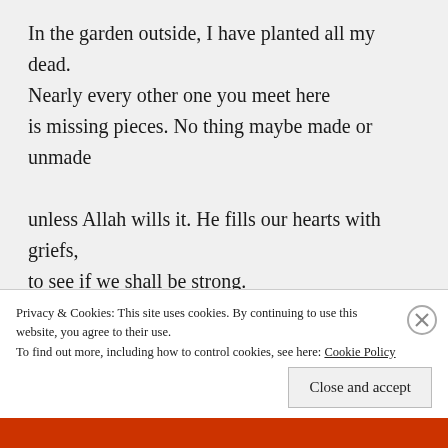In the garden outside, I have planted all my dead. Nearly every other one you meet here is missing pieces. No thing maybe made or unmade
unless Allah wills it. He fills our hearts with griefs, to see if we shall be strong. A garden shows us what may await us in Paradise. One sharp goad from a terrible grief, and the soul is waking up. Cynics will attribute this transformation
Privacy & Cookies: This site uses cookies. By continuing to use this website, you agree to their use.
To find out more, including how to control cookies, see here: Cookie Policy
Close and accept